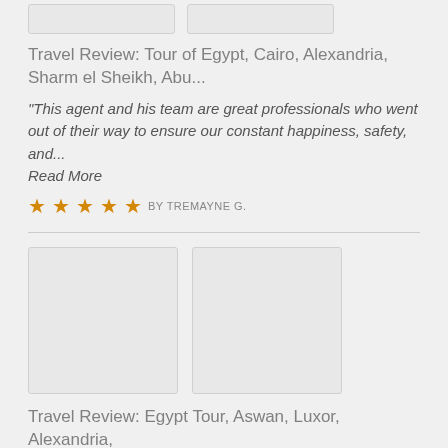[Figure (photo): Two small thumbnail image placeholders at top]
Travel Review: Tour of Egypt, Cairo, Alexandria, Sharm el Sheikh, Abu...
"This agent and his team are great professionals who went out of their way to ensure our constant happiness, safety, and... Read More
★★★★★ BY TREMAYNE G.
[Figure (photo): Two large thumbnail image placeholders]
Travel Review: Egypt Tour, Aswan, Luxor, Alexandria, Cairo, Karnak
"Our travel company attended to every detail and made travel from start to finish a breeze.. "